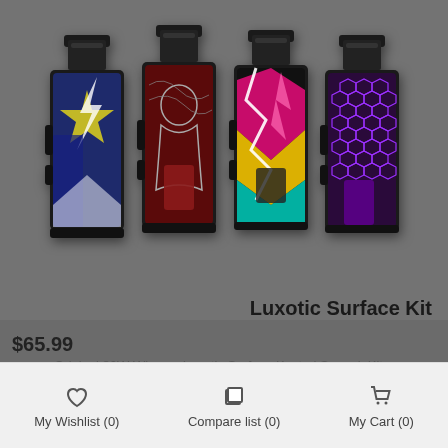[Figure (photo): Four Wismec Luxotic Surface Kit vape devices shown side by side. Left to right: blue/yellow star graffiti design, dark red with hooded figure design, colorful neon geometric design, purple hexagon pattern design. All have black tank tops.]
Luxotic Surface Kit
Original 80W Wismec Luxotic Surface Kestrel Squonk Kit...
$65.99